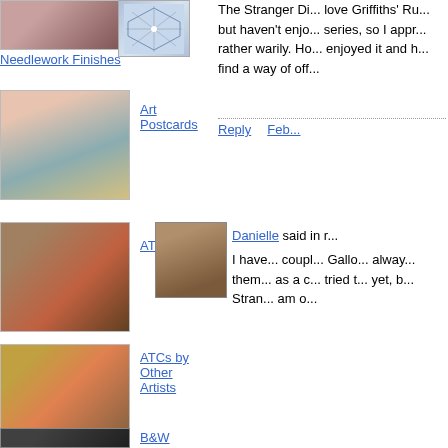[Figure (photo): Needlework finishes thumbnail image]
Needlework Finishes
[Figure (photo): Geometric blue star pattern image]
The Stranger Di... love Griffiths' Ru... but haven't enjo... series, so I appr... rather warily. Ho... enjoyed it and h... find a way of off...
Reply   Feb...
[Figure (photo): Art Postcards thumbnail]
Art Postcards
[Figure (photo): ATCs thumbnail]
ATCs
[Figure (photo): Danielle avatar portrait photo]
Danielle said in r...
I have... coupl... Gallo... alway... them... as a c... tried t... yet, b... Stran... am o...
[Figure (photo): ATCs by Other Artists thumbnail]
ATCs by Other Artists
[Figure (photo): B&W thumbnail]
B&W